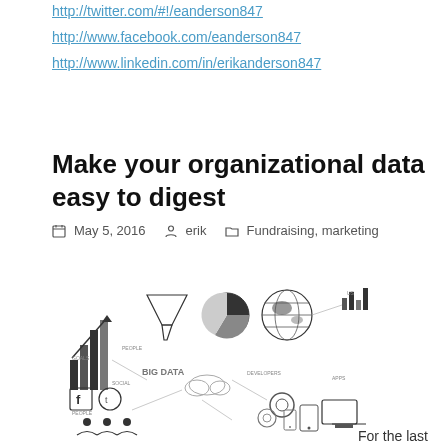http://twitter.com/#!/eanderson847
http://www.facebook.com/eanderson847
http://www.linkedin.com/in/erikanderson847
Make your organizational data easy to digest
May 5, 2016   erik   Fundraising, marketing
[Figure (infographic): A complex infographic illustration showing various data visualization elements including bar charts, pie charts, a globe, social media icons (Facebook, Twitter), technology and big data concepts, people icons, devices (tablets, phones, monitors), gears, clouds, and various interconnected nodes and labels. The image is rendered in black, white, and gray tones.]
For the last